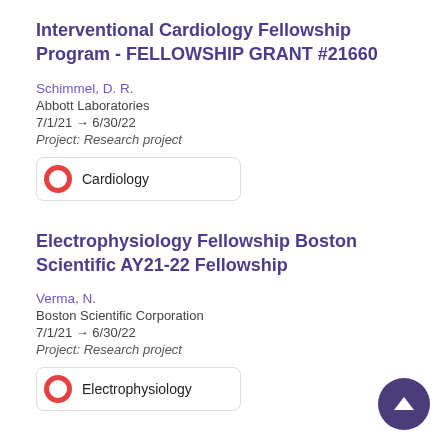Interventional Cardiology Fellowship Program - FELLOWSHIP GRANT #21660
Schimmel, D. R.
Abbott Laboratories
7/1/21 → 6/30/22
Project: Research project
Cardiology
Electrophysiology Fellowship Boston Scientific AY21-22 Fellowship
Verma, N.
Boston Scientific Corporation
7/1/21 → 6/30/22
Project: Research project
Electrophysiology